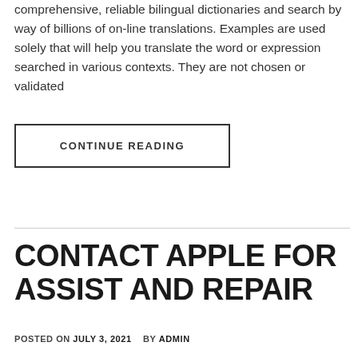comprehensive, reliable bilingual dictionaries and search by way of billions of on-line translations. Examples are used solely that will help you translate the word or expression searched in various contexts. They are not chosen or validated
CONTINUE READING
CONTACT APPLE FOR ASSIST AND REPAIR
POSTED ON JULY 3, 2021 BY ADMIN